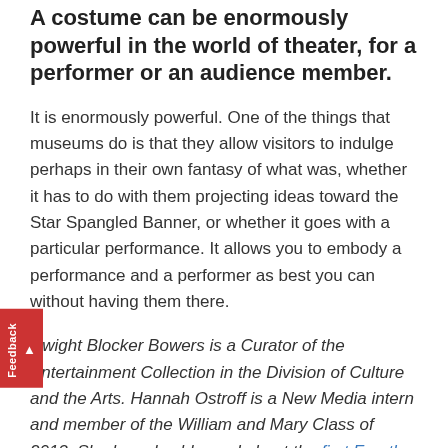A costume can be enormously powerful in the world of theater, for a performer or an audience member.
It is enormously powerful. One of the things that museums do is that they allow visitors to indulge perhaps in their own fantasy of what was, whether it has to do with them projecting ideas toward the Star Spangled Banner, or whether it goes with a particular performance. It allows you to embody a performance and a performer as best you can without having them there.
Dwight Blocker Bowers is a Curator of the Entertainment Collection in the Division of Culture and the Arts. Hannah Ostroff is a New Media intern and member of the William and Mary Class of 2013. She has also blogged about the first Fourth of July.
Posted in From the Collections, Intern Perspectives